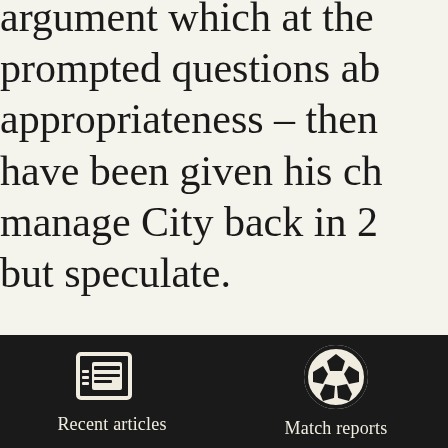argument which at the prompted questions ab appropriateness – then have been given his ch manage City back in 2 but speculate.

Ten years on one won significant the event w City were not heading good under Jefferies bu that the Premiership r
[Figure (other): Dark navigation bar at bottom with two icon+label items: 'Recent articles' (newspaper icon) and 'Match reports' (soccer ball icon)]